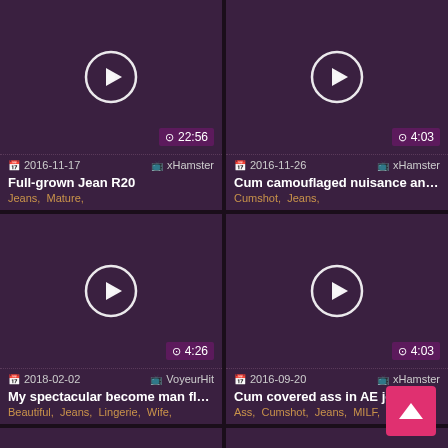[Figure (screenshot): Video thumbnail grid showing 6 video cards in 2 columns. Top-left: Full-grown Jean R20, 22:56, 2016-11-17, xHamster, tags: Jeans, Mature. Top-right: Cum camouflaged nuisance anen..., 4:03, 2016-11-26, xHamster, tags: Cumshot, Jeans. Middle-left: My spectacular become man flas..., 4:26, 2018-02-02, VoyeurHit, tags: Beautiful, Jeans, Lingerie, Wife. Middle-right: Cum covered ass in AE jeans, 4:03, 2016-09-20, xHamster, tags: Ass, Cumshot, Jeans, MILF. Bottom-left and bottom-right: partially visible cards with play buttons.]